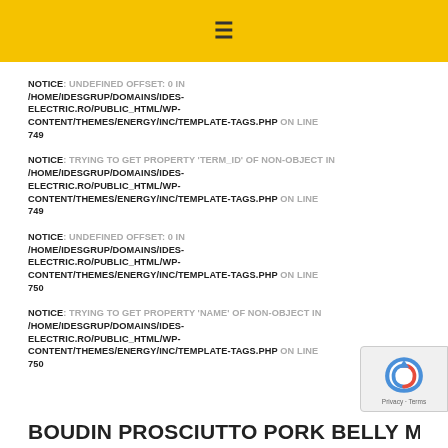≡
NOTICE: UNDEFINED OFFSET: 0 IN /HOME/IDESGRUP/DOMAINS/IDES-ELECTRIC.RO/PUBLIC_HTML/WP-CONTENT/THEMES/ENERGY/INC/TEMPLATE-TAGS.PHP ON LINE 749
NOTICE: TRYING TO GET PROPERTY 'TERM_ID' OF NON-OBJECT IN /HOME/IDESGRUP/DOMAINS/IDES-ELECTRIC.RO/PUBLIC_HTML/WP-CONTENT/THEMES/ENERGY/INC/TEMPLATE-TAGS.PHP ON LINE 749
NOTICE: UNDEFINED OFFSET: 0 IN /HOME/IDESGRUP/DOMAINS/IDES-ELECTRIC.RO/PUBLIC_HTML/WP-CONTENT/THEMES/ENERGY/INC/TEMPLATE-TAGS.PHP ON LINE 750
NOTICE: TRYING TO GET PROPERTY 'NAME' OF NON-OBJECT IN /HOME/IDESGRUP/DOMAINS/IDES-ELECTRIC.RO/PUBLIC_HTML/WP-CONTENT/THEMES/ENERGY/INC/TEMPLATE-TAGS.PHP ON LINE 750
BOUDIN PROSCIUTTO PORK BELLY MEATBALI